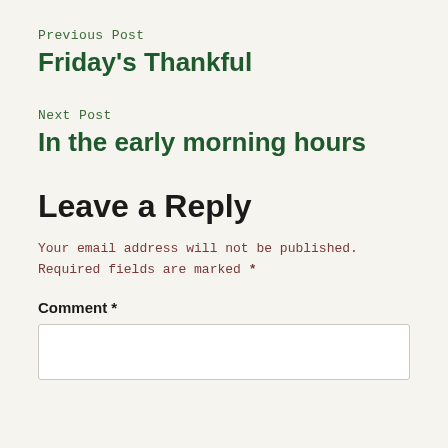Previous Post
Friday's Thankful
Next Post
In the early morning hours
Leave a Reply
Your email address will not be published. Required fields are marked *
Comment *